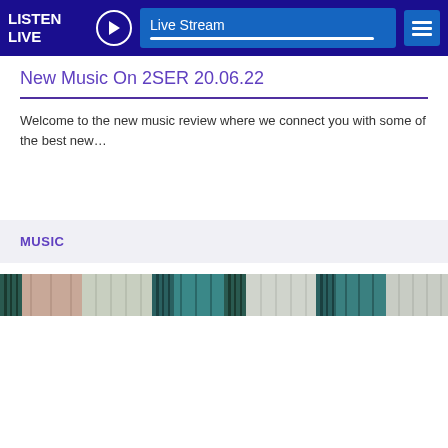LISTEN LIVE  Live Stream
New Music On 2SER 20.06.22
Welcome to the new music review where we connect you with some of the best new…
MUSIC
[Figure (photo): Horizontal strip of thumbnail images showing teal/green painted doors and textured surfaces]